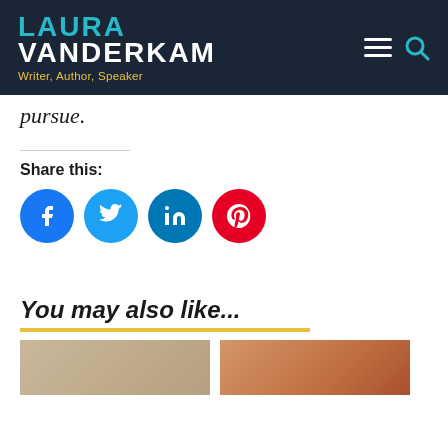LAURA VANDERKAM - Writer, Author, Speaker
pursue.
Share this:
[Figure (infographic): Social share buttons: Facebook (blue circle), Twitter (light blue circle), LinkedIn (dark blue circle), Pinterest (red circle)]
You may also like...
[Figure (photo): Thumbnail image 1 - tan/beige toned photo]
[Figure (photo): Thumbnail image 2 - warm orange/brown toned photo of a person]